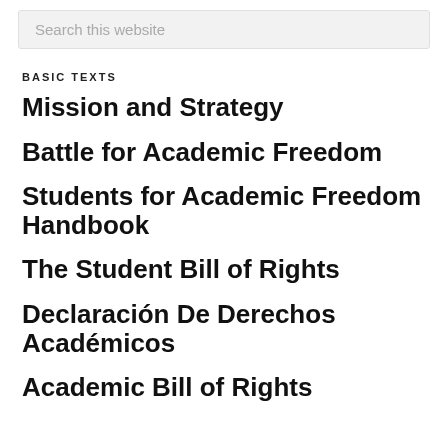Search this website
BASIC TEXTS
Mission and Strategy
Battle for Academic Freedom
Students for Academic Freedom Handbook
The Student Bill of Rights
Declaración De Derechos Académicos
Academic Bill of Rights